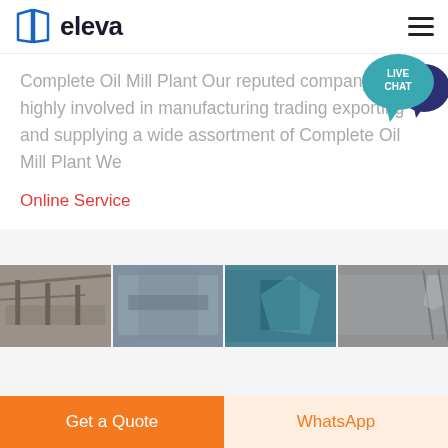eleva
[Figure (logo): Eleva brand logo with blue book/pages icon and bold 'eleva' text]
Complete Oil Mill Plant Our reputed company is highly involved in manufacturing trading exporting and supplying a wide assortment of Complete Oil Mill Plant We
Online Service
[Figure (photo): Strip of three industrial/factory photographs showing oil mill plant equipment]
Get a Quote
WhatsApp